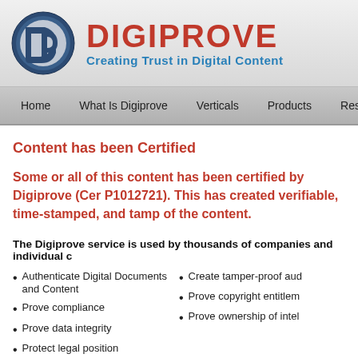[Figure (logo): Digiprove circular logo with 'dp' letters in dark blue/grey circle]
DIGIPROVE
Creating Trust in Digital Content
Home   What Is Digiprove   Verticals   Products   Resources   Pricing
Content has been Certified
Some or all of this content has been certified by Digiprove (Certificate number P1012721). This has created verifiable, time-stamped, and tamper-proof records of the content.
The Digiprove service is used by thousands of companies and individual
Authenticate Digital Documents and Content
Prove compliance
Prove data integrity
Protect legal position
Create tamper-proof aud
Prove copyright entitlem
Prove ownership of intel